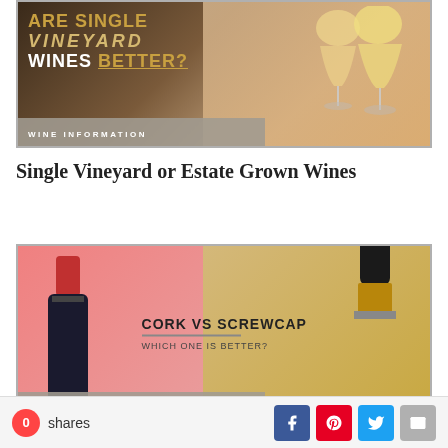[Figure (photo): Promotional image for wine article: dark background with golden text 'ARE SINGLE VINEYARD WINES BETTER?' and wine glasses on right, with 'WINE INFORMATION' label at bottom]
Single Vineyard or Estate Grown Wines
[Figure (photo): Promotional image showing cork wine bottle on pink background and gold screwcap bottle on tan background, text reads 'CORK VS SCREWCAP WHICH ONE IS BETTER?' with 'WINE INFORMATION' label at bottom]
0 shares